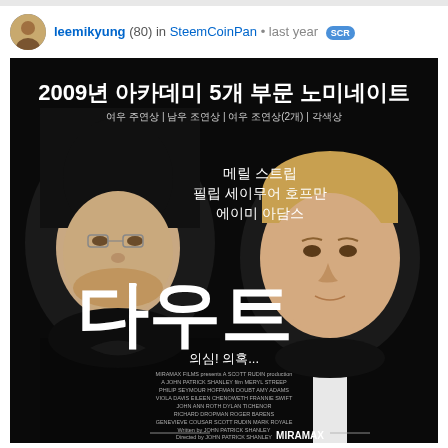leemikyung (80) in SteemCoinPan • last year SCR
[Figure (photo): Korean movie poster for 'Doubt' (다우트) showing two actors on a dark background. Top text reads '2009년 아카데미 5개 부문 노미네이트' (2009 Academy Awards 5 nominations). Subtitles list: 여우 주연상 | 남우 조연상 | 여우 조연상(2개) | 각색상. Cast names: 메릴 스트립, 필립 세이무어 호프만, 에이미 아담스. Large Korean title '다우트' in center. Below: 의심! 의혹... MIRAMAX FILMS production credits. Directed by JOHN PATRICK SHANLEY.]